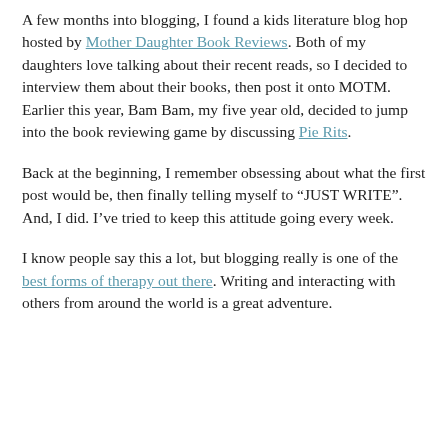snap photos and share with my readers. It became such a fun outlet for me and, of course, still is today.
A few months into blogging, I found a kids literature blog hop hosted by Mother Daughter Book Reviews. Both of my daughters love talking about their recent reads, so I decided to interview them about their books, then post it onto MOTM. Earlier this year, Bam Bam, my five year old, decided to jump into the book reviewing game by discussing Pie Rits.
Back at the beginning, I remember obsessing about what the first post would be, then finally telling myself to “JUST WRITE”. And, I did. I’ve tried to keep this attitude going every week.
I know people say this a lot, but blogging really is one of the best forms of therapy out there. Writing and interacting with others from around the world is a great adventure.